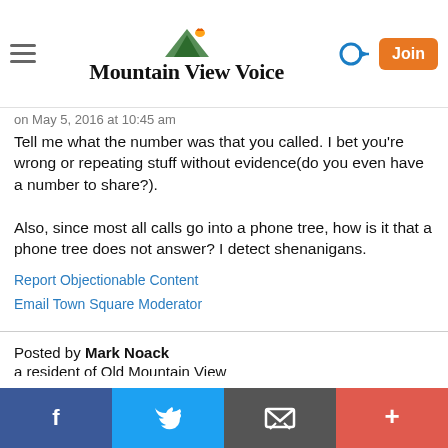Mountain View Voice
on May 5, 2016 at 10:45 am
Tell me what the number was that you called. I bet you're wrong or repeating stuff without evidence(do you even have a number to share?).
Also, since most all calls go into a phone tree, how is it that a phone tree does not answer? I detect shenanigans.
Report Objectionable Content
Email Town Square Moderator
Posted by Mark Noack
a resident of Old Mountain View
on May 5, 2016 at 12:04 pm
Mark Noack is a registered user.